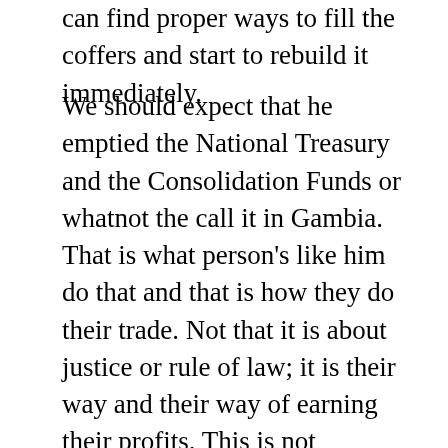can find proper ways to fill the coffers and start to rebuild it immediately.
We should expect that he emptied the National Treasury and the Consolidation Funds or whatnot the call it in Gambia. That is what person's like him do that and that is how they do their trade. Not that it is about justice or rule of law; it is their way and their way of earning their profits. This is not nostalgia or any sorts well he deserves to empty the state coffers. More, well he done it for 20 years already, one more emptying the coffers would not make the giant difference. Not that it justify it, it is morally and legally wrong to steal the taxpayers monies. No doubt, but when he has done so with